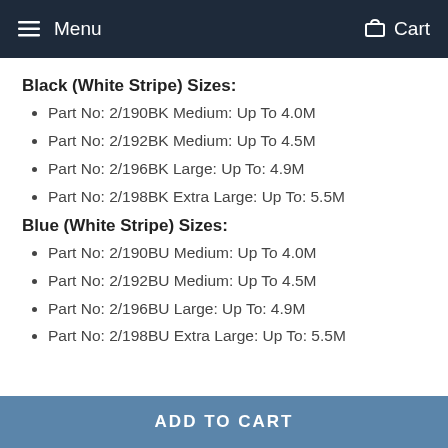Menu  Cart
Black (White Stripe) Sizes:
Part No: 2/190BK Medium: Up To 4.0M
Part No: 2/192BK Medium: Up To 4.5M
Part No: 2/196BK Large: Up To: 4.9M
Part No: 2/198BK Extra Large: Up To: 5.5M
Blue (White Stripe) Sizes:
Part No: 2/190BU Medium: Up To 4.0M
Part No: 2/192BU Medium: Up To 4.5M
Part No: 2/196BU Large: Up To: 4.9M
Part No: 2/198BU Extra Large: Up To: 5.5M
ADD TO CART